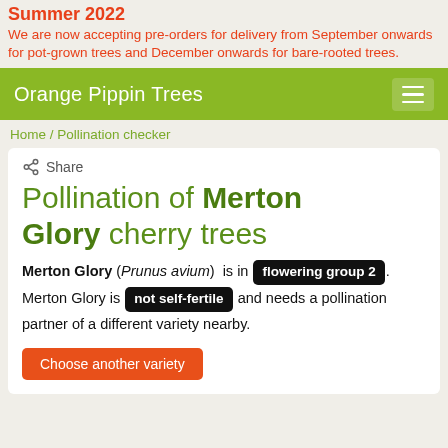Summer 2022
We are now accepting pre-orders for delivery from September onwards for pot-grown trees and December onwards for bare-rooted trees.
Orange Pippin Trees
Home / Pollination checker
Share
Pollination of Merton Glory cherry trees
Merton Glory (Prunus avium) is in flowering group 2. Merton Glory is not self-fertile and needs a pollination partner of a different variety nearby.
Choose another variety